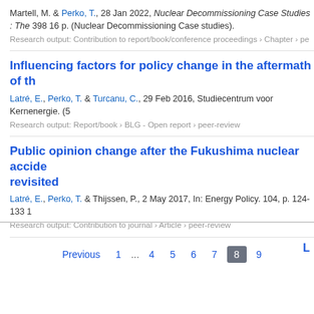Martell, M. & Perko, T., 28 Jan 2022, Nuclear Decommissioning Case Studies : The 398 16 p. (Nuclear Decommissioning Case studies).
Research output: Contribution to report/book/conference proceedings › Chapter › pe
Influencing factors for policy change in the aftermath of th
Latré, E., Perko, T. & Turcanu, C., 29 Feb 2016, Studiecentrum voor Kernenergie. (5
Research output: Report/book › BLG - Open report › peer-review
Public opinion change after the Fukushima nuclear accide revisited
Latré, E., Perko, T. & Thijssen, P., 2 May 2017, In: Energy Policy. 104, p. 124-133 1
Research output: Contribution to journal › Article › peer-review
Previous 1 ... 4 5 6 7 8 9